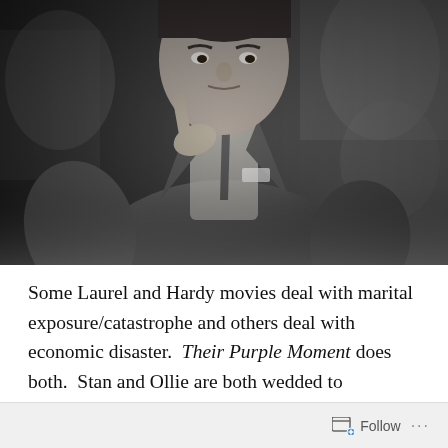[Figure (photo): Black and white photograph of a man in a suit, cropped at the torso and head, with a crowd visible in the blurred background. The man appears to be Stan Laurel or Oliver Hardy, wearing a double-breasted jacket.]
Some Laurel and Hardy movies deal with marital exposure/catastrophe and others deal with economic disaster.  Their Purple Moment does both.  Stan and Ollie are both wedded to demanding partners who insist on receiving every cent of the paycheck.  They have each attempted to keep something back to fund the occasional
Follow ···